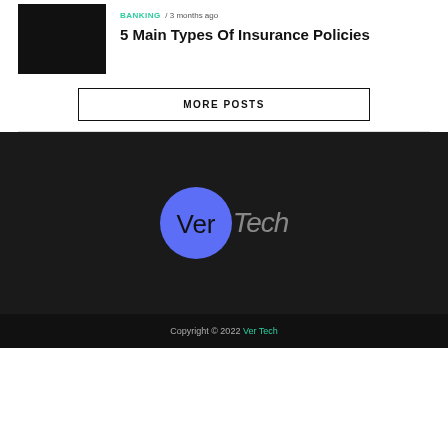BANKING / 3 months ago
5 Main Types Of Insurance Policies
MORE POSTS
[Figure (logo): VerTech logo: blue circle with 'Ver' in black text and 'Tech' in dark gray, on a dark background]
Copyright © 2022 Ver Tech